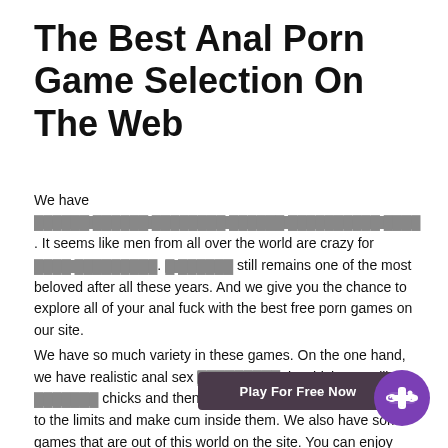The Best Anal Porn Game Selection On The Web
We have [redacted]. It seems like men from all over the world are crazy for [redacted]. [redacted] still remains one of the most beloved after all these years. And we give you the chance to explore all of your anal fuck with the best free porn games on our site.
We have so much variety in these games. On the one hand, we have realistic anal sex [redacted], in which you will [redacted] chicks and then fuck their asses [redacted] them to the limits and make cum inside them. We also have some games that are out of this world on the site. You can enjoy space journeys in which [redacted] girls dressed up in space suits are bending over to take your dick. We also come with [redacted] in which the anal action is featuring all kinds of [redacted] [redacted] [redacted] face with massive [redacted] discharges [redacted]